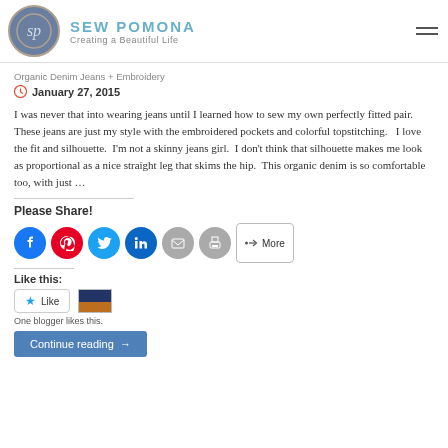SEW POMONA - Creating a Beautiful Life
Organic Denim Jeans + Embroidery
January 27, 2015
I was never that into wearing jeans until I learned how to sew my own perfectly fitted pair.  These jeans are just my style with the embroidered pockets and colorful topstitching.   I love the fit and silhouette.  I'm not a skinny jeans girl.  I don't think that silhouette makes me look as proportional as a nice straight leg that skims the hip.  This organic denim is so comfortable too, with just …
Please Share!
Like this:
One blogger likes this.
Continue reading →